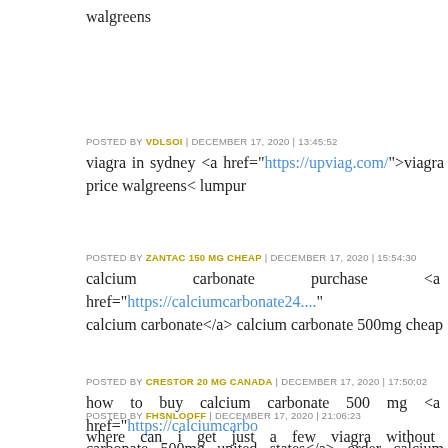walgreens
POSTED BY VDLSOI | DECEMBER 17, 2020 | 13:45:52
viagra in sydney <a href="https://upviag.com/">viagra price walgreens< lumpur
POSTED BY ZANTAC 150 MG CHEAP | DECEMBER 17, 2020 | 15:54:30
calcium carbonate purchase <a href="https://calciumcarbonate24...." calcium carbonate</a> calcium carbonate 500mg cheap
POSTED BY CRESTOR 20 MG CANADA | DECEMBER 17, 2020 | 17:50:02
how to buy calcium carbonate 500 mg <a href="https://calciumcarbo carbonate 500mg united states</a> order calcium carbonate
POSTED BY FHSNLOOFF | DECEMBER 17, 2020 | 21:06:23
where can i get just a few viagra without costing a